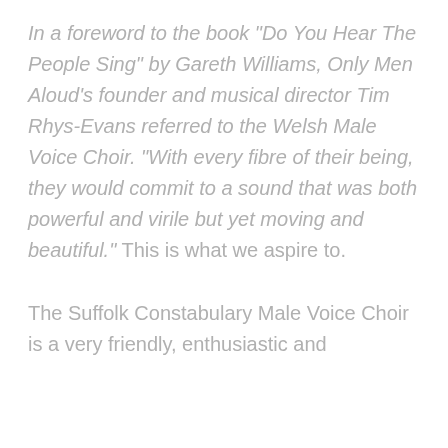In a foreword to the book "Do You Hear The People Sing" by Gareth Williams, Only Men Aloud's founder and musical director Tim Rhys-Evans referred to the Welsh Male Voice Choir. "With every fibre of their being, they would commit to a sound that was both powerful and virile but yet moving and beautiful." This is what we aspire to.
The Suffolk Constabulary Male Voice Choir is a very friendly, enthusiastic and